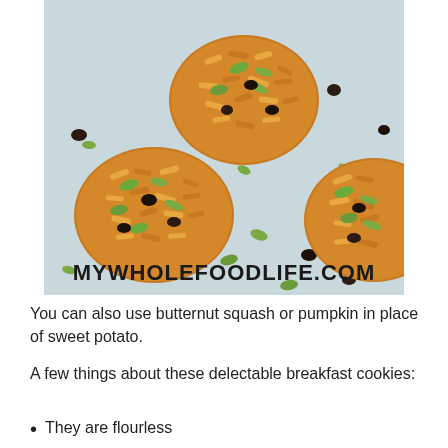[Figure (photo): Overhead photo of oat-based breakfast cookies with pumpkin seeds and raisins scattered on a light blue surface. Text watermark at bottom reads MYWHOLEFOODLIFE.COM]
You can also use butternut squash or pumpkin in place of sweet potato.
A few things about these delectable breakfast cookies:
They are flourless